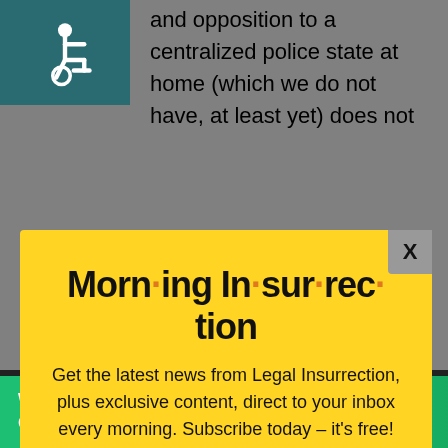[Figure (logo): Wheelchair accessibility icon on teal/dark cyan background]
and opposition to a centralized police state at home (which we do not have, at least yet) does not
[Figure (screenshot): Modal popup with yellow background. Title: Morn·ing In·sur·rec·tion. Body: Get the latest news from Legal Insurrection, plus exclusive content, direct to your inbox every morning. Subscribe today – it's free! Button: JOIN NOW]
The f[×]sians, the Iranians,
op
Working from home?
Get your projects done on fiverr